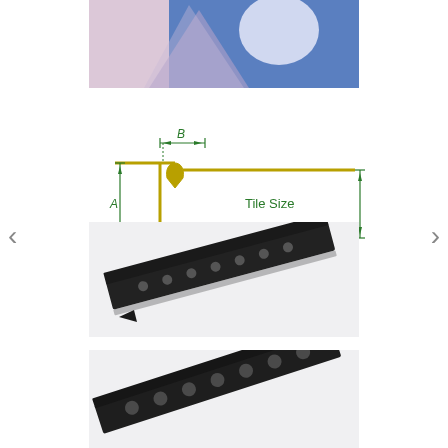[Figure (photo): Partial view of a tile transition profile product with blue packaging/backing visible, cropped at top of page]
[Figure (schematic): Technical diagram of a tile transition profile showing dimensions A (height) and B (width of top flange), with label 'Tile Size' on the right horizontal leg and 'Tile Transition' text below in green]
[Figure (photo): Product photo of a dark/black anodized aluminum tile transition strip with punched holes along its length, shown at an angle on white background]
[Figure (photo): Close-up product photo of the same dark tile transition strip with circular punched holes, shown from a different angle, cropped at bottom]